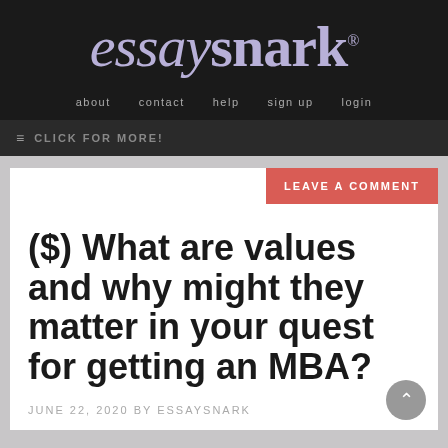essaysnark®
about  contact  help  sign up  login
≡ CLICK FOR MORE!
($) What are values and why might they matter in your quest for getting an MBA?
JUNE 22, 2020 BY ESSAYSNARK